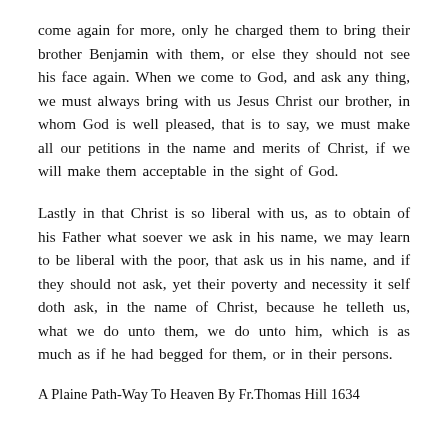come again for more, only he charged them to bring their brother Benjamin with them, or else they should not see his face again. When we come to God, and ask any thing, we must always bring with us Jesus Christ our brother, in whom God is well pleased, that is to say, we must make all our petitions in the name and merits of Christ, if we will make them acceptable in the sight of God.
Lastly in that Christ is so liberal with us, as to obtain of his Father what soever we ask in his name, we may learn to be liberal with the poor, that ask us in his name, and if they should not ask, yet their poverty and necessity it self doth ask, in the name of Christ, because he telleth us, what we do unto them, we do unto him, which is as much as if he had begged for them, or in their persons.
A Plaine Path-Way To Heaven By Fr.Thomas Hill 1634